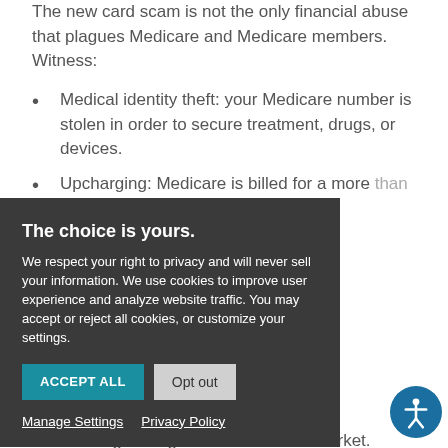The new card scam is not the only financial abuse that plagues Medicare and Medicare members. Witness:
Medical identity theft: your Medicare number is stolen in order to secure treatment, drugs, or devices.
Upcharging: Medicare is billed for a more [expensive service] than you [received].
[Medicare is billed for] [services/procedures] [not performed / received].
[Your Medi]care number [is used] [for prescripti]ons, with drugs being sold on the black market.
[Figure (screenshot): Cookie consent banner overlay with dark background reading 'The choice is yours. We respect your right to privacy and will never sell your information. We use cookies to improve user experience and analyze website traffic. You may accept or reject all cookies, or customize your settings.' with ACCEPT ALL and Opt out buttons, and Manage Settings and Privacy Policy links.]